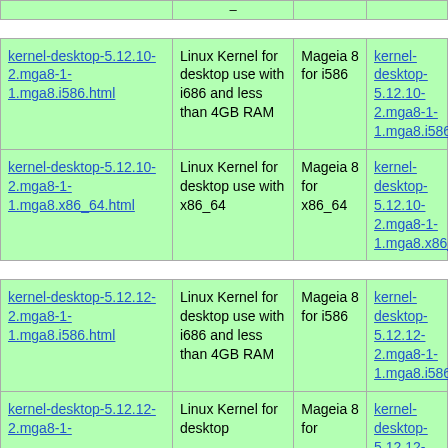| Package | Description | Distribution | Download |
| --- | --- | --- | --- |
| kernel-desktop-5.12.10-2.mga8-1-1.mga8.i586.html | Linux Kernel for desktop use with i686 and less than 4GB RAM | Mageia 8 for i586 | kernel-desktop-5.12.10-2.mga8-1-1.mga8.i586.rpm |
| kernel-desktop-5.12.10-2.mga8-1-1.mga8.x86_64.html | Linux Kernel for desktop use with x86_64 | Mageia 8 for x86_64 | kernel-desktop-5.12.10-2.mga8-1-1.mga8.x86_64.rpm |
| kernel-desktop-5.12.12-2.mga8-1-1.mga8.i586.html | Linux Kernel for desktop use with i686 and less than 4GB RAM | Mageia 8 for i586 | kernel-desktop-5.12.12-2.mga8-1-1.mga8.i586.rpm |
| kernel-desktop-5.12.12-2.mga8-1- | Linux Kernel for desktop | Mageia 8 for | kernel-desktop-5.12.12-2.mga8-1- |